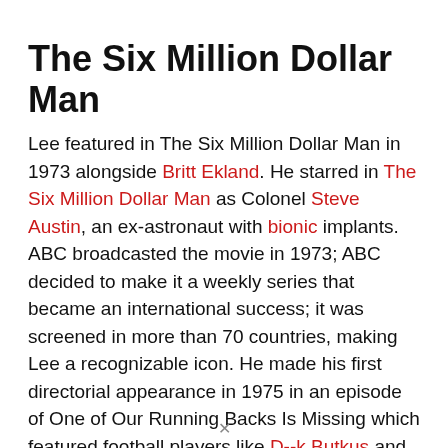The Six Million Dollar Man
Lee featured in The Six Million Dollar Man in 1973 alongside Britt Ekland. He starred in The Six Million Dollar Man as Colonel Steve Austin, an ex-astronaut with bionic implants. ABC broadcasted the movie in 1973; ABC decided to make it a weekly series that became an international success; it was screened in more than 70 countries, making Lee a recognizable icon. He made his first directorial appearance in 1975 in an episode of One of Our Running Backs Is Missing which featured football players like D--k Butkus and Larry Csonka.